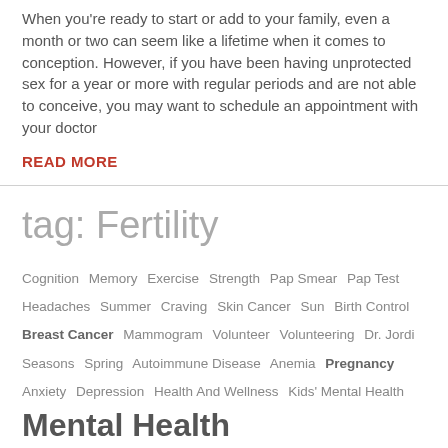When you're ready to start or add to your family, even a month or two can seem like a lifetime when it comes to conception. However, if you have been having unprotected sex for a year or more with regular periods and are not able to conceive, you may want to schedule an appointment with your doctor
READ MORE
tag: Fertility
Cognition Memory Exercise Strength Pap Smear Pap Test Headaches Summer Craving Skin Cancer Sun Birth Control Breast Cancer Mammogram Volunteer Volunteering Dr. Jordi Seasons Spring Autoimmune Disease Anemia Pregnancy Anxiety Depression Health And Wellness Kids' Mental Health
Mental Health